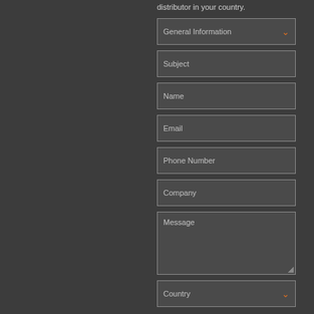distributor in your country.
[Figure (screenshot): Web contact form with fields: General Information (dropdown), Subject, Name, Email, Phone Number, Company, Message (textarea), Country (dropdown)]